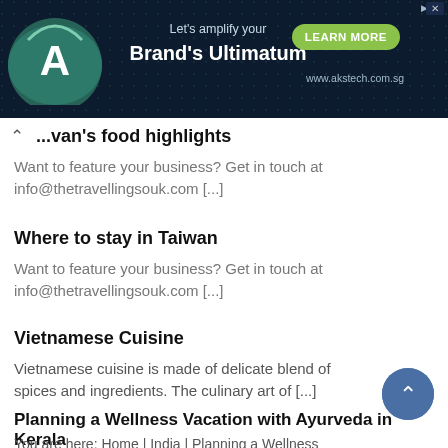[Figure (infographic): Advertisement banner with dark background. AKS Tech logo on left (green circle with white A). Center text: 'Let's amplify your Brand's Ultimatum'. Green 'LEARN MORE' button and 'www.akstech.com.sg' URL on right. AdChoices icon and close X in top-right corner.]
...van's food highlights
Want to feature your business? Get in touch at info@thetravellingsouk.com [...]
Where to stay in Taiwan
Want to feature your business? Get in touch at info@thetravellingsouk.com [...]
Vietnamese Cuisine
Vietnamese cuisine is made of delicate blend of spices and ingredients. The culinary art of [...]
Planning a Wellness Vacation with Ayurveda in Kerala
You are here: Home | India | Planning a Wellness